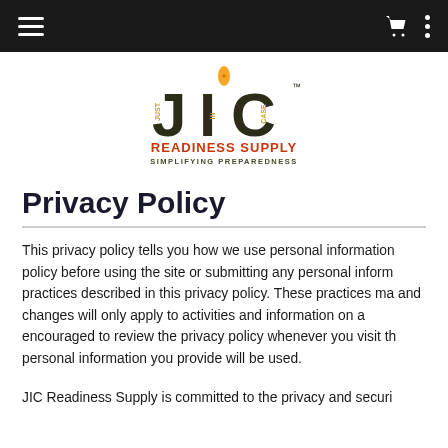Navigation bar with hamburger menu, cart icon, and vertical dots menu
[Figure (logo): JIC Readiness Supply logo — stylized JIC letters with a flame, subtitle READINESS SUPPLY and SIMPLIFYING PREPAREDNESS]
Privacy Policy
This privacy policy tells you how we use personal information policy before using the site or submitting any personal information practices described in this privacy policy. These practices may and changes will only apply to activities and information on a encouraged to review the privacy policy whenever you visit the personal information you provide will be used.
JIC Readiness Supply is committed to the privacy and securi